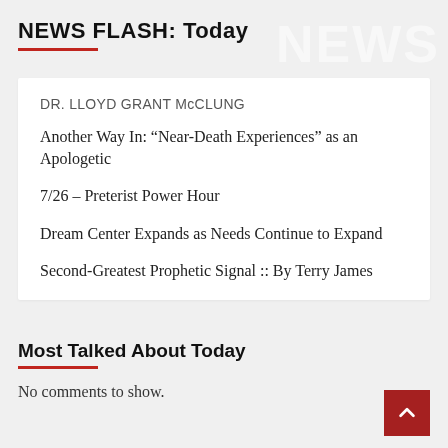NEWS FLASH: Today
DR. LLOYD GRANT McCLUNG
Another Way In: “Near-Death Experiences” as an Apologetic
7/26 – Preterist Power Hour
Dream Center Expands as Needs Continue to Expand
Second-Greatest Prophetic Signal :: By Terry James
Most Talked About Today
No comments to show.